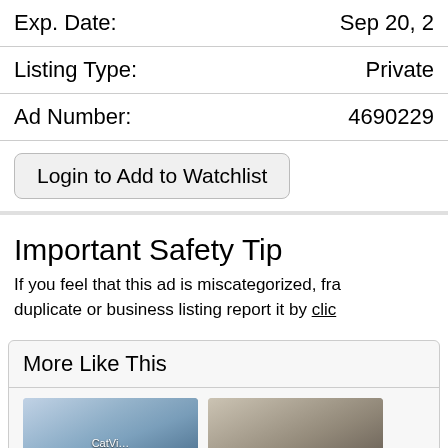| Exp. Date: | Sep 20, 2… |
| Listing Type: | Private |
| Ad Number: | 4690229… |
Login to Add to Watchlist
Important Safety Tip
If you feel that this ad is miscategorized, fra… duplicate or business listing report it by clic…
More Like This
[Figure (photo): Thumbnail image 1 related listing]
[Figure (photo): Thumbnail image 2 related listing]